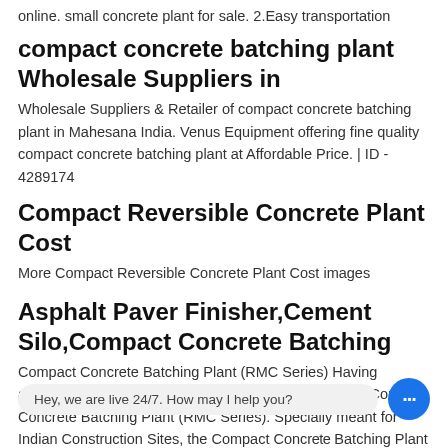online. small concrete plant for sale. 2.Easy transportation
compact concrete batching plant Wholesale Suppliers in
Wholesale Suppliers & Retailer of compact concrete batching plant in Mahesana India. Venus Equipment offering fine quality compact concrete batching plant at Affordable Price. | ID - 4289174
Compact Reversible Concrete Plant Cost
More Compact Reversible Concrete Plant Cost images
Asphalt Paver Finisher,Cement Silo,Compact Concrete Batching
Compact Concrete Batching Plant (RMC Series) Having association with the leading companies, we bring forth Compact Concrete Batching Plant (RMC Series). Specially meant for Indian Construction Sites, the Compact Concrete Batching Plant is h... gi maintenance. The cost-effective Compact ... View Details »
Hey, we are live 24/7. How may I help you?